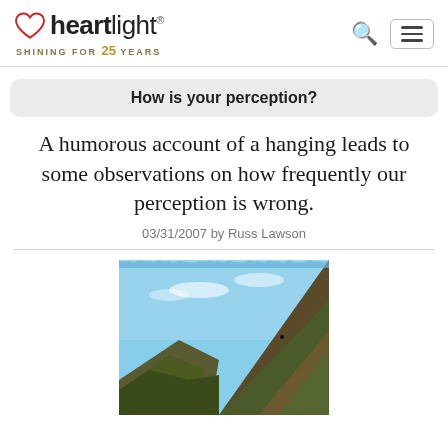heartlight® SHINING FOR 25 YEARS
How is your perception?
A humorous account of a hanging leads to some observations on how frequently our perception is wrong.
03/31/2007 by Russ Lawson
[Figure (photo): Outdoor photograph showing a rocky hillside or cliff face with vegetation, blue sky with light clouds in the background.]